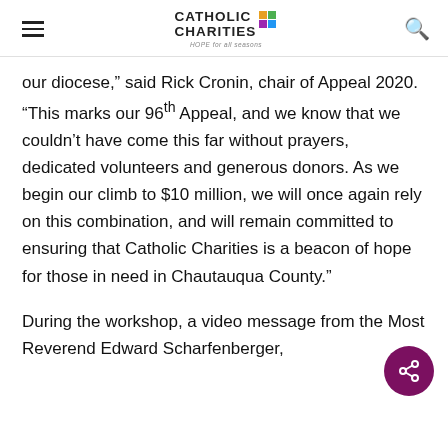Catholic Charities — HOPE for all seasons
our diocese,” said Rick Cronin, chair of Appeal 2020. “This marks our 96th Appeal, and we know that we couldn’t have come this far without prayers, dedicated volunteers and generous donors. As we begin our climb to $10 million, we will once again rely on this combination, and will remain committed to ensuring that Catholic Charities is a beacon of hope for those in need in Chautauqua County.”
During the workshop, a video message from the Most Reverend Edward Scharfenberger,